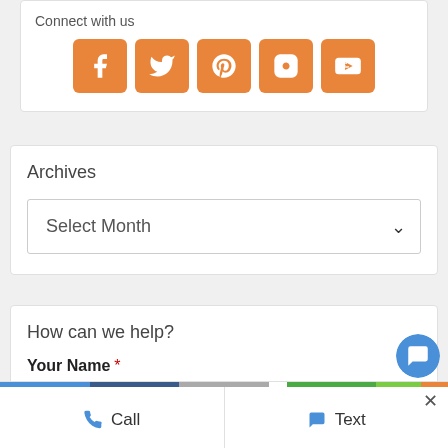Connect with us
[Figure (infographic): Five orange rounded square social media icons: Facebook (f), Twitter (bird), Pinterest (p), Instagram (camera), YouTube (play button with 'You Tube' text)]
Archives
Select Month
How can we help?
Your Name *
Call   Text   ×